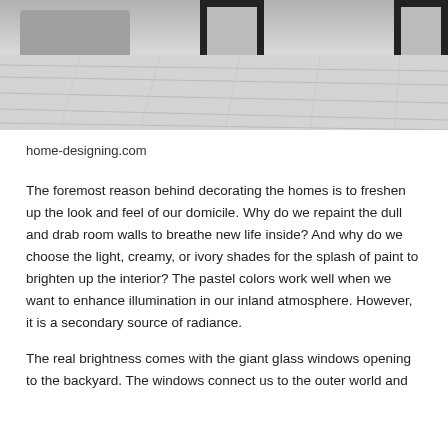[Figure (photo): Black and white interior photo showing a minimalist room with a sofa/couch on the left, framed pictures on the wall, and a light wooden plank floor.]
home-designing.com
The foremost reason behind decorating the homes is to freshen up the look and feel of our domicile. Why do we repaint the dull and drab room walls to breathe new life inside? And why do we choose the light, creamy, or ivory shades for the splash of paint to brighten up the interior? The pastel colors work well when we want to enhance illumination in our inland atmosphere. However, it is a secondary source of radiance.
The real brightness comes with the giant glass windows opening to the backyard. The windows connect us to the outer world and